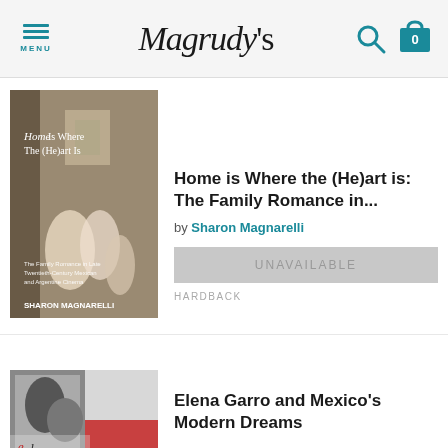Magrudy's
[Figure (screenshot): Book cover: Home is Where The (He)art Is by Sharon Magnarelli, showing a classical painting of women in a domestic interior scene]
Home is Where the (He)art is: The Family Romance in...
by Sharon Magnarelli
UNAVAILABLE
HARDBACK
[Figure (screenshot): Book cover: Elena Garro and Mexico's Modern Dreams, showing a black and white collage-style image with handwriting]
Elena Garro and Mexico's Modern Dreams